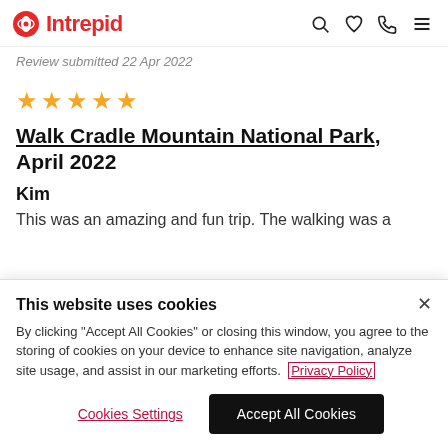Intrepid
Review submitted 22 Apr 2022
[Figure (other): Five gold star rating icons]
Walk Cradle Mountain National Park, April 2022
Kim
This was an amazing and fun trip. The walking was a
This website uses cookies
By clicking "Accept All Cookies" or closing this window, you agree to the storing of cookies on your device to enhance site navigation, analyze site usage, and assist in our marketing efforts. Privacy Policy
Cookies Settings
Accept All Cookies